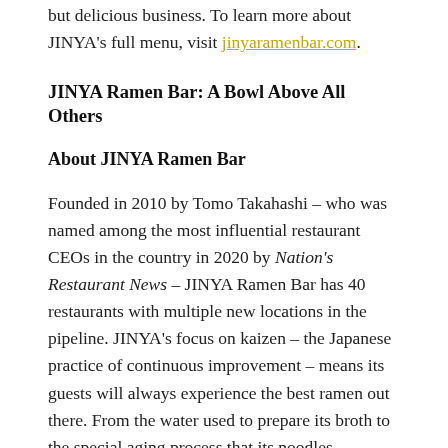but delicious business. To learn more about JINYA's full menu, visit jinyaramenbar.com.
JINYA Ramen Bar: A Bowl Above All Others
About JINYA Ramen Bar
Founded in 2010 by Tomo Takahashi – who was named among the most influential restaurant CEOs in the country in 2020 by Nation's Restaurant News – JINYA Ramen Bar has 40 restaurants with multiple new locations in the pipeline. JINYA's focus on kaizen – the Japanese practice of continuous improvement – means its guests will always experience the best ramen out there. From the water used to prepare its broth to the special aging process that its noodles